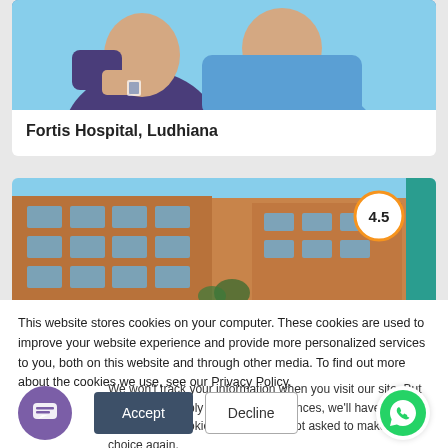[Figure (photo): Medical staff in scrubs (blue and purple), upper body, close-up]
Fortis Hospital, Ludhiana
[Figure (photo): Hospital building exterior - multi-story red brick building with blue glass windows, clear sky background. Rating badge showing 4.5 and teal QUOTE tab on right]
This website stores cookies on your computer. These cookies are used to improve your website experience and provide more personalized services to you, both on this website and through other media. To find out more about the cookies we use, see our Privacy Policy.
We won't track your information when you visit our site. But in order to comply with your preferences, we'll have to use just one tiny cookie so that you're not asked to make this choice again.